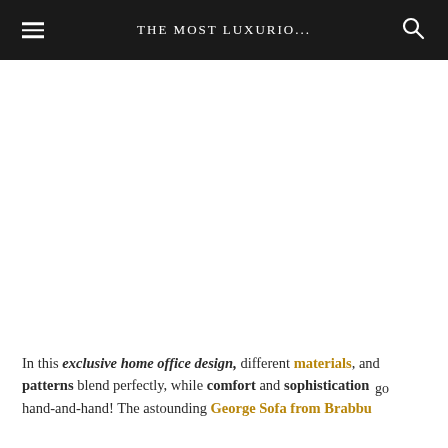THE MOST LUXURIO...
[Figure (photo): White/blank image area representing a home office design photo placeholder]
In this exclusive home office design, different materials, and patterns blend perfectly, while comfort and sophistication go hand-and-hand! The astounding George Sofa from Brabbu